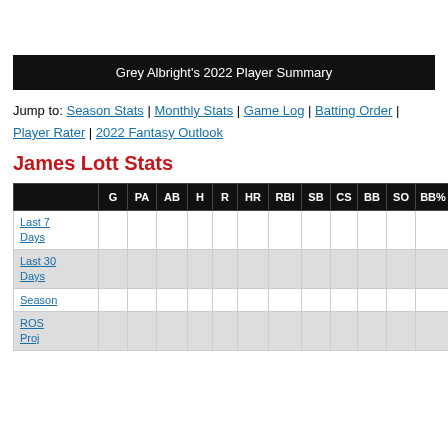Grey Albright's 2022 Player Summary
Jump to: Season Stats | Monthly Stats | Game Log | Batting Order | Player Rater | 2022 Fantasy Outlook
James Lott Stats
|  | G | PA | AB | H | R | HR | RBI | SB | CS | BB | SO | BB% | K% | AVG | OBP |
| --- | --- | --- | --- | --- | --- | --- | --- | --- | --- | --- | --- | --- | --- | --- | --- |
| Last 7 Days |  |  |  |  |  |  |  |  |  |  |  |  |  |  |  |
| Last 30 Days |  |  |  |  |  |  |  |  |  |  |  |  |  |  |  |
| Season |  |  |  |  |  |  |  |  |  |  |  |  |  |  |  |
| ROS Proj |  |  |  |  |  |  |  |  |  |  |  |  |  |  |  |